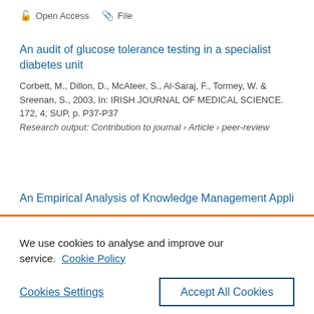Open Access   File
An audit of glucose tolerance testing in a specialist diabetes unit
Corbett, M., Dillon, D., McAteer, S., Al-Saraj, F., Tormey, W. & Sreenan, S., 2003, In: IRISH JOURNAL OF MEDICAL SCIENCE. 172, 4; SUP, p. P37-P37
Research output: Contribution to journal › Article › peer-review
An Empirical Analysis of Knowledge Management Appli...
We use cookies to analyse and improve our service.  Cookie Policy
Cookies Settings
Accept All Cookies